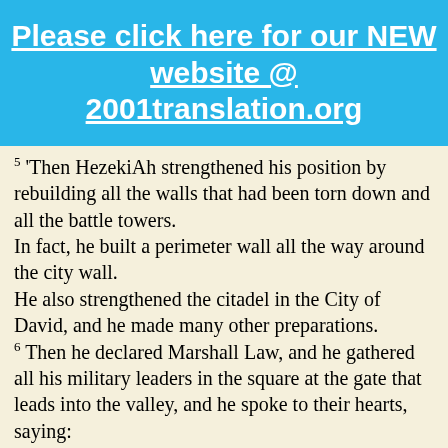Please click here for our NEW website @ 2001translation.org
5 'Then HezekiAh strengthened his position by rebuilding all the walls that had been torn down and all the battle towers.
In fact, he built a perimeter wall all the way around the city wall.
He also strengthened the citadel in the City of David, and he made many other preparations.
6 Then he declared Marshall Law, and he gathered all his military leaders in the square at the gate that leads into the valley, and he spoke to their hearts, saying:
7 'Be manly and strong!
Don't allow the king of Assyria or any of those nations that are marching with him to frighten or